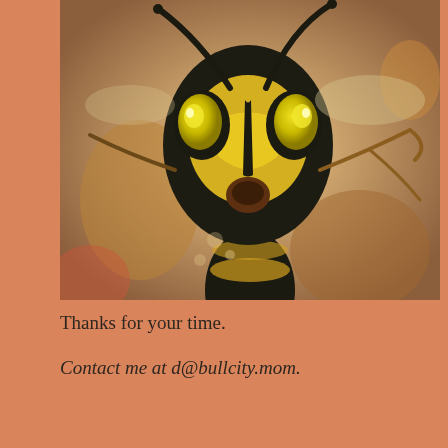[Figure (photo): Close-up macro photograph of a wasp (yellow jacket) with distinctive black and yellow markings on its face, viewed from the front, resting on a surface]
Thanks for your time.
Contact me at d@bullcity.mom.
Puppy On The Couch
SEPTEMBER 2, 2019 / LEAVE A COMMENT